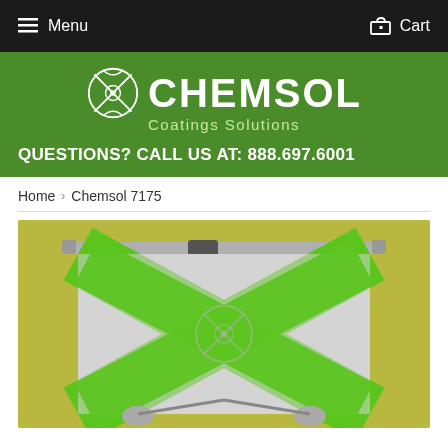Menu   Cart
[Figure (logo): Chemsol Coatings Solutions logo — white stylized X/crosshair symbol with CHEMSOL text and 'Coatings Solutions' subtitle on green background]
QUESTIONS? CALL US AT: 888.697.6001
Home › Chemsol 7175
[Figure (photo): Product photo showing a silver and green Chemsol promotional roller/banner stand with the Chemsol X logo on a yellow-green background]